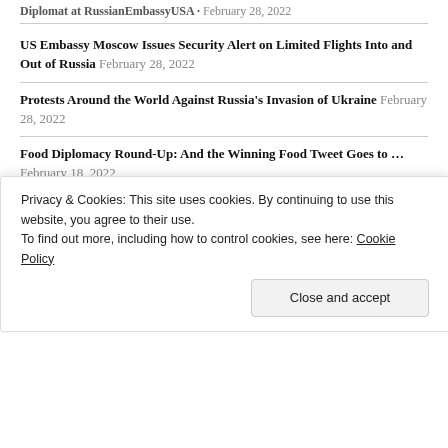US Embassy Moscow Issues Security Alert on Limited Flights Into and Out of Russia February 28, 2022
Protests Around the World Against Russia's Invasion of Ukraine February 28, 2022
Food Diplomacy Round-Up: And the Winning Food Tweet Goes to … February 18, 2022
Advertisements
[Figure (illustration): Blue banner advertisement showing a person holding a phone flanked by two circular icons representing a notebook and a server/database, with sparkle stars on a light blue background.]
Privacy & Cookies: This site uses cookies. By continuing to use this website, you agree to their use.
To find out more, including how to control cookies, see here: Cookie Policy
Close and accept